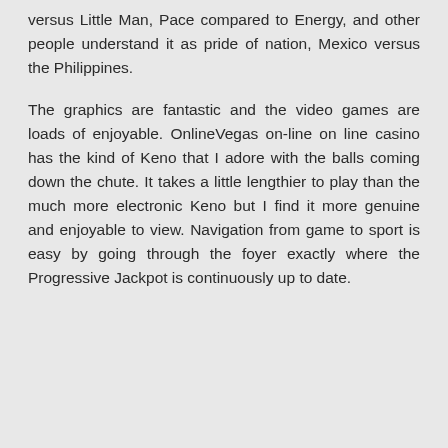versus Little Man, Pace compared to Energy, and other people understand it as pride of nation, Mexico versus the Philippines.
The graphics are fantastic and the video games are loads of enjoyable. OnlineVegas on-line on line casino has the kind of Keno that I adore with the balls coming down the chute. It takes a little lengthier to play than the much more electronic Keno but I find it more genuine and enjoyable to view. Navigation from game to sport is easy by going through the foyer exactly where the Progressive Jackpot is continuously up to date.